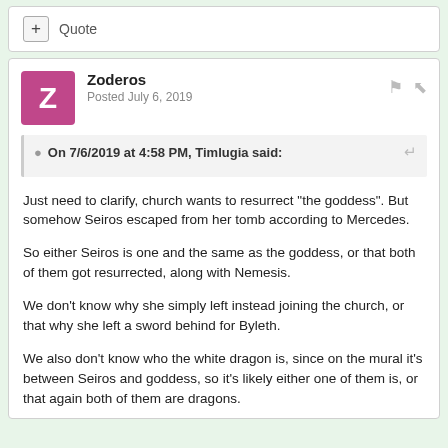+ Quote
Zoderos
Posted July 6, 2019
On 7/6/2019 at 4:58 PM, Timlugia said:
Just need to clarify, church wants to resurrect "the goddess". But somehow Seiros escaped from her tomb according to Mercedes.

So either Seiros is one and the same as the goddess, or that both of them got resurrected, along with Nemesis.

We don't know why she simply left instead joining the church, or that why she left a sword behind for Byleth.

We also don't know who the white dragon is, since on the mural it's between Seiros and goddess, so it's likely either one of them is, or that again both of them are dragons.